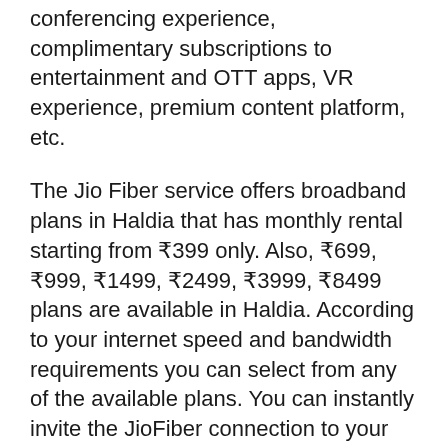conferencing experience, complimentary subscriptions to entertainment and OTT apps, VR experience, premium content platform, etc.
The Jio Fiber service offers broadband plans in Haldia that has monthly rental starting from ₹399 only. Also, ₹699, ₹999, ₹1499, ₹2499, ₹3999, ₹8499 plans are available in Haldia. According to your internet speed and bandwidth requirements you can select from any of the available plans. You can instantly invite the JioFiber connection to your neighbourhood in Haldia. If you are an existing JioFiber user, you can upgrade to any of the latest JioFiber plans available